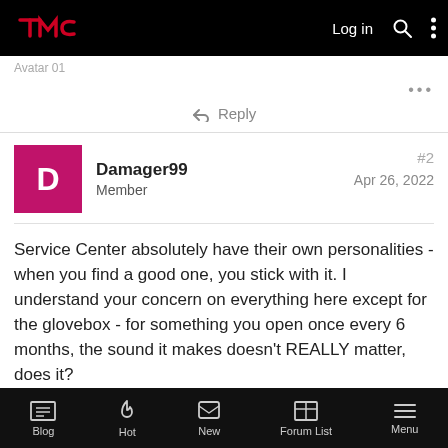TMC forum header with Log in, search, and menu icons
Avatar 01
Reply
Damager99
Member
#2
Apr 26, 2022
Service Center absolutely have their own personalities - when you find a good one, you stick with it. I understand your concern on everything here except for the glovebox - for something you open once every 6 months, the sound it makes doesn't REALLY matter, does it?
Blog | Hot | New | Forum List | Menu